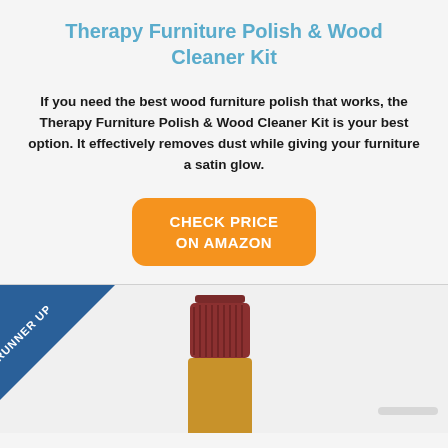Therapy Furniture Polish & Wood Cleaner Kit
If you need the best wood furniture polish that works, the Therapy Furniture Polish & Wood Cleaner Kit is your best option. It effectively removes dust while giving your furniture a satin glow.
CHECK PRICE ON AMAZON
[Figure (illustration): Runner Up diagonal banner badge in blue over bottom section, with partial view of a bottle (amber colored with dark red cap) centered in the lower portion of the page.]